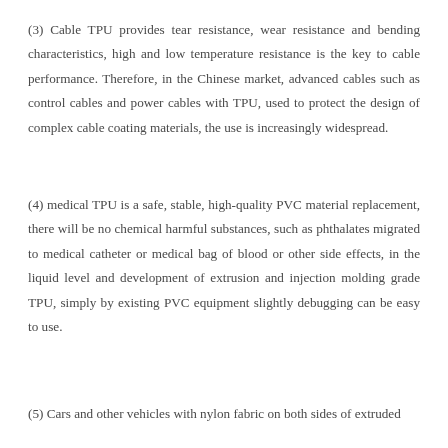(3) Cable TPU provides tear resistance, wear resistance and bending characteristics, high and low temperature resistance is the key to cable performance. Therefore, in the Chinese market, advanced cables such as control cables and power cables with TPU, used to protect the design of complex cable coating materials, the use is increasingly widespread.
(4) medical TPU is a safe, stable, high-quality PVC material replacement, there will be no chemical harmful substances, such as phthalates migrated to medical catheter or medical bag of blood or other side effects, in the liquid level and development of extrusion and injection molding grade TPU, simply by existing PVC equipment slightly debugging can be easy to use.
(5) Cars and other vehicles with nylon fabric on both sides of extruded